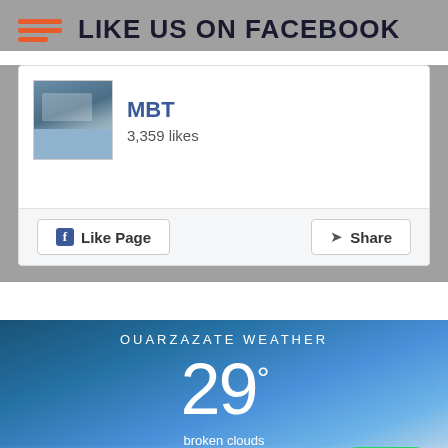LIKE US ON FACEBOOK
[Figure (screenshot): Facebook Like Page widget showing MBT page with 3,359 likes, a thumbnail of a pool/building, Like Page button and Share button]
[Figure (infographic): Ouarzazate Weather widget showing 29° temperature, broken clouds, 34% humidity, wind 4m/s N, H 29 · L 29, with blue sky and clouds background]
OUARZAZATE WEATHER
29°
broken clouds
34% humidity
wind: 4m/s N
H 29 · L 29